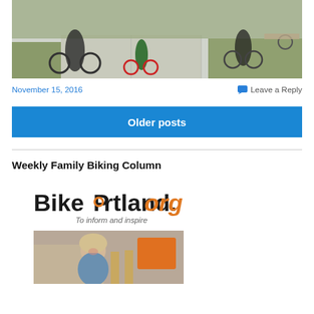[Figure (photo): Outdoor photo showing cyclists on a path near a sidewalk with grass and trees in the background]
November 15, 2016
Leave a Reply
Older posts
Weekly Family Biking Column
[Figure (logo): BikePortland.org logo with tagline 'To inform and inspire' and a photo of a smiling woman outdoors]